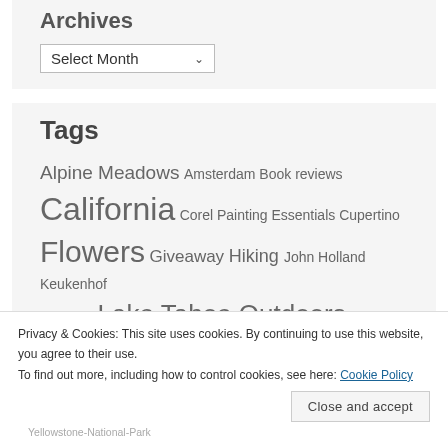Archives
Select Month
Tags
Alpine Meadows  Amsterdam  Book reviews  California  Corel Painting Essentials  Cupertino  Flowers  Giveaway  Hiking  John Holland  Keukenhof Gardens  Lake Tahoe  Outdoors
Privacy & Cookies: This site uses cookies. By continuing to use this website, you agree to their use.
To find out more, including how to control cookies, see here: Cookie Policy
Close and accept
Yellowstone-National-Park